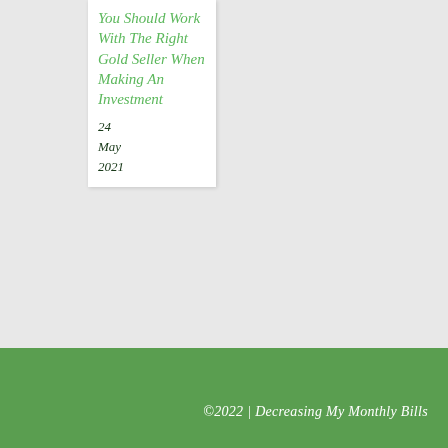You Should Work With The Right Gold Seller When Making An Investment
24
May
2021
©2022 | Decreasing My Monthly Bills